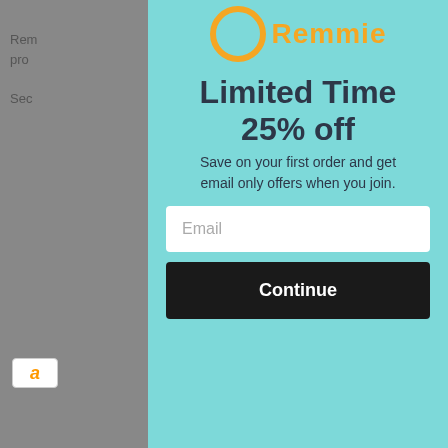[Figure (screenshot): Website background showing partially visible text about a product and payment badges including Amazon and PayPal, overlaid by a modal popup]
[Figure (infographic): Popup modal with light teal/aqua background featuring the Remmie logo (orange circle and orange text), a bold dark promotional heading 'Limited Time 25% off', descriptive text 'Save on your first order and get email only offers when you join.', an Email input field, and a black Continue button]